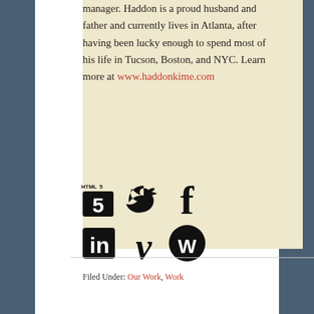manager. Haddon is a proud husband and father and currently lives in Atlanta, after having been lucky enough to spend most of his life in Tucson, Boston, and NYC. Learn more at www.haddonkime.com
[Figure (infographic): Social media icons: HTML5, Twitter, Facebook (top row); LinkedIn, Vimeo, WordPress (bottom row)]
Filed Under: Our Work, Work